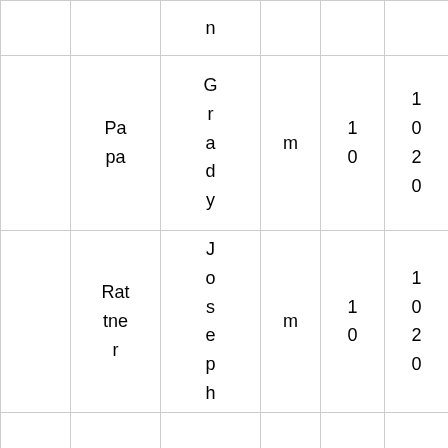|  |  | n |  |  |  |
|  | Papa | Grady | m | 10 | 1020 |
|  | Rattner | Joseph | m | 10 | 1020 |
|  |  |  |  |  |  |